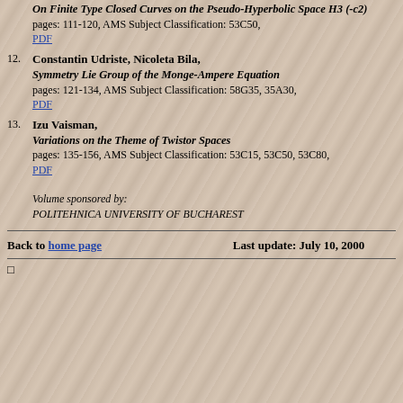On Finite Type Closed Curves on the Pseudo-Hyperbolic Space H3 (-c2)
pages: 111-120, AMS Subject Classification: 53C50,
PDF
12. Constantin Udriste, Nicoleta Bila, Symmetry Lie Group of the Monge-Ampere Equation pages: 121-134, AMS Subject Classification: 58G35, 35A30, PDF
13. Izu Vaisman, Variations on the Theme of Twistor Spaces pages: 135-156, AMS Subject Classification: 53C15, 53C50, 53C80, PDF
Volume sponsored by:
POLITEHNICA UNIVERSITY OF BUCHAREST
Back to home page    Last update: July 10, 2000